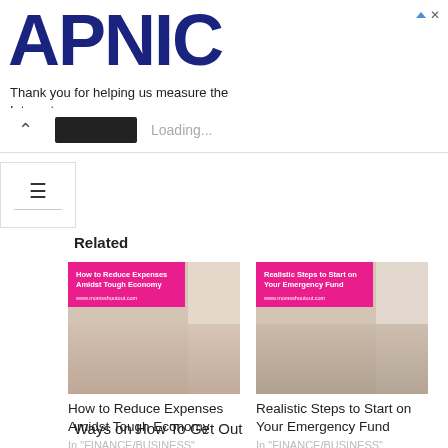[Figure (screenshot): APNIC logo with ad banner text: Thank you for helping us measure the Internet.]
Loading...
Related
[Figure (photo): Article thumbnail: How to Reduce Expenses Amidst Tough Economy - pink banner with piggy bank image, www.momsshoutout.com]
How to Reduce Expenses Amidst Tough Economy
In "FINANCE/BUSINESS"
[Figure (photo): Article thumbnail: Realistic Steps to Start on Your Emergency Fund - pink banner with coins and plant image, www.momsshoutout.com]
Realistic Steps to Start on Your Emergency Fund
In "FINANCE/BUSINESS"
Ways on How To Get Out